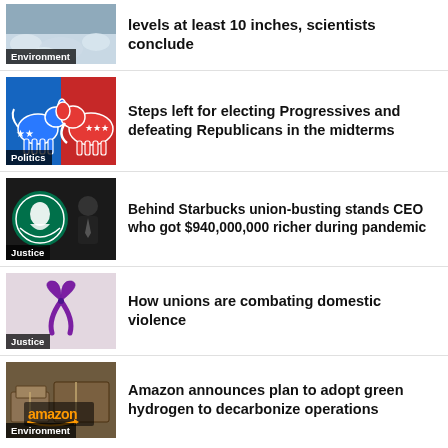[Figure (photo): Ice/snow environment photo with Environment badge]
levels at least 10 inches, scientists conclude
[Figure (illustration): Democratic donkey and Republican elephant icons on red/blue background with Politics badge]
Steps left for electing Progressives and defeating Republicans in the midterms
[Figure (photo): Starbucks logo and CEO photo with Justice badge]
Behind Starbucks union-busting stands CEO who got $940,000,000 richer during pandemic
[Figure (photo): Purple ribbon on light background with Justice badge]
How unions are combating domestic violence
[Figure (photo): Amazon boxes/logo photo with Environment badge]
Amazon announces plan to adopt green hydrogen to decarbonize operations